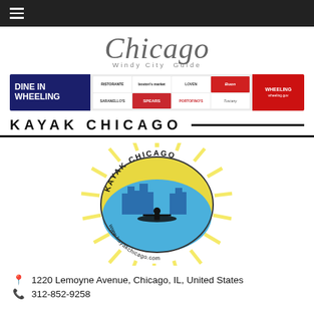Navigation bar with hamburger menu
[Figure (logo): Chicago Windy City Guide logo - serif italic text in gray]
[Figure (illustration): Dine in Wheeling advertisement banner with restaurant logos]
KAYAK CHICAGO
[Figure (logo): Kayak Chicago circular logo with kayaker silhouette against Chicago skyline, yellow sun rays, www.kayakchicago.com]
1220 Lemoyne Avenue, Chicago, IL, United States
312-852-9258